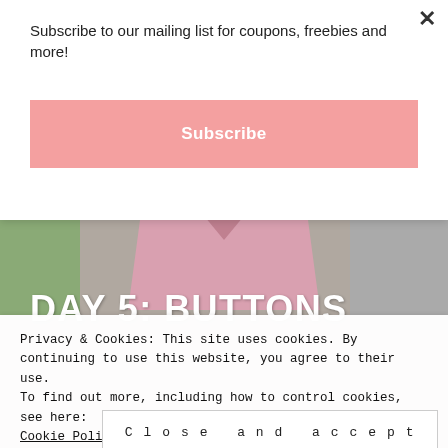Subscribe to our mailing list for coupons, freebies and more!
Subscribe
[Figure (photo): Young girl with curly dark hair wearing a pink top, smiling. Overlaid text reads DAY 5: BUTTONS]
Privacy & Cookies: This site uses cookies. By continuing to use this website, you agree to their use.
To find out more, including how to control cookies, see here:
Cookie Policy
Close and accept